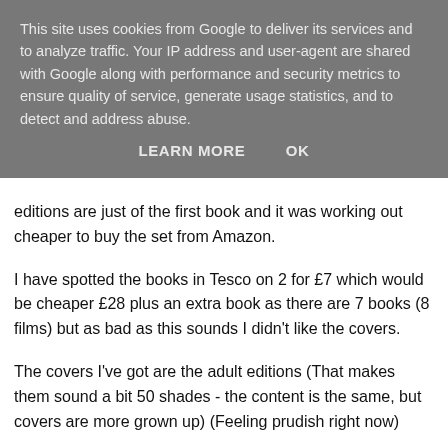This site uses cookies from Google to deliver its services and to analyze traffic. Your IP address and user-agent are shared with Google along with performance and security metrics to ensure quality of service, generate usage statistics, and to detect and address abuse.
LEARN MORE   OK
editions are just of the first book and it was working out cheaper to buy the set from Amazon.
I have spotted the books in Tesco on 2 for £7 which would be cheaper £28 plus an extra book as there are 7 books (8 films) but as bad as this sounds I didn't like the covers.
The covers I've got are the adult editions (That makes them sound a bit 50 shades - the content is the same, but covers are more grown up) (Feeling prudish right now)